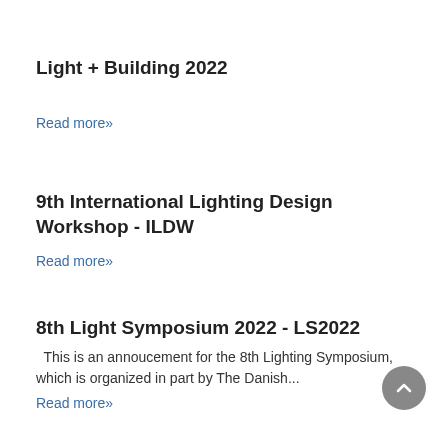Light + Building 2022
Read more»
9th International Lighting Design Workshop - ILDW
Read more»
8th Light Symposium 2022 - LS2022
This is an annoucement for the 8th Lighting Symposium, which is organized in part by The Danish...
Read more»